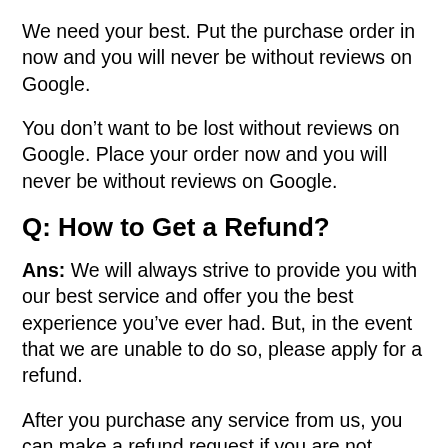We need your best. Put the purchase order in now and you will never be without reviews on Google.
You don’t want to be lost without reviews on Google. Place your order now and you will never be without reviews on Google.
Q: How to Get a Refund?
Ans: We will always strive to provide you with our best service and offer you the best experience you’ve ever had. But, in the event that we are unable to do so, please apply for a refund.
After you purchase any service from us, you can make a refund request if you are not satisfied with our service or if we are unable to provide